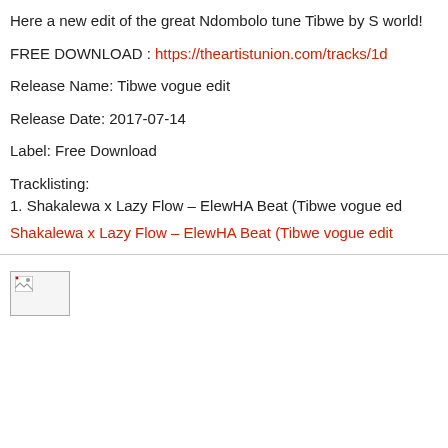Here a new edit of the great Ndombolo tune Tibwe by S world!
FREE DOWNLOAD : https://theartistunion.com/tracks/1d
Release Name: Tibwe vogue edit
Release Date: 2017-07-14
Label: Free Download
Tracklisting:
1. Shakalewa x Lazy Flow – ElewHA Beat (Tibwe vogue ed
Shakalewa x Lazy Flow – ElewHA Beat (Tibwe vogue edit
[Figure (illustration): Broken image placeholder with small icon in top-left corner]